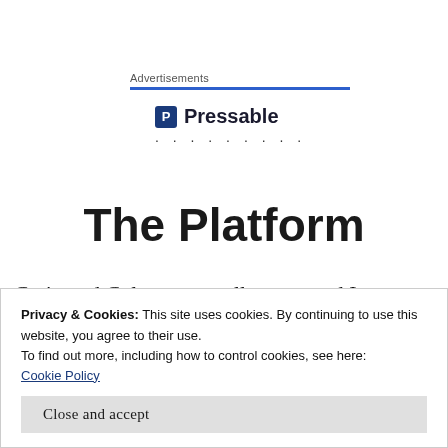Advertisements
[Figure (logo): Pressable logo with icon and dotted line below]
The Platform
Craig and Coletta are really great and I see them in the way I saw Jason, Christi’s brother, my youth pastor before Church...
Privacy & Cookies: This site uses cookies. By continuing to use this website, you agree to their use.
To find out more, including how to control cookies, see here:
Cookie Policy
Close and accept